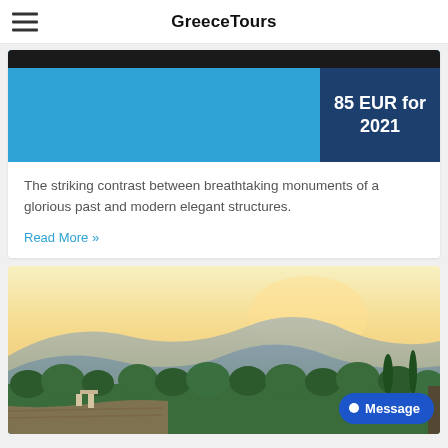GreeceTours
85 EUR for 2021
The striking contrast between breathtaking monuments of a glorious past and modern elegant structures.
Read More »
[Figure (photo): Scenic landscape photo of Greek hillside with trees, ancient amphitheater ruins in foreground, mountains and warm sunset sky in background]